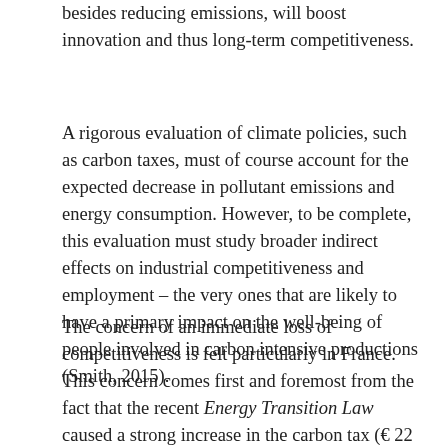besides reducing emissions, will boost innovation and thus long-term competitiveness.
A rigorous evaluation of climate policies, such as carbon taxes, must of course account for the expected decrease in pollutant emissions and energy consumption. However, to be complete, this evaluation must study broader indirect effects on industrial competitiveness and employment – the very ones that are likely to have a primary impact on the well-being of people involved in carbon intensive productions (Smith, 2015).
The concern of an immediate loss of competitiveness is felt particularly in France. This concern comes first and foremost from the fact that the recent Energy Transition Law caused a strong increase in the carbon tax (€ 22 in 2016, € 56 in 2020, € 100 in 2030). This is